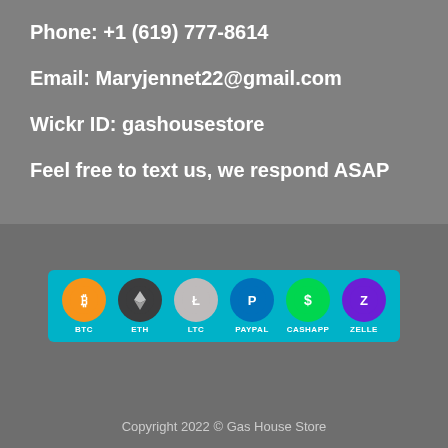Phone: +1 (619) 777-8614
Email: Maryjennet22@gmail.com
Wickr ID: gashousestore
Feel free to text us, we respond ASAP
[Figure (infographic): Payment methods banner showing BTC, ETH, LTC, PayPal, CashApp, and Zelle icons on a teal background]
Copyright 2022 © Gas House Store